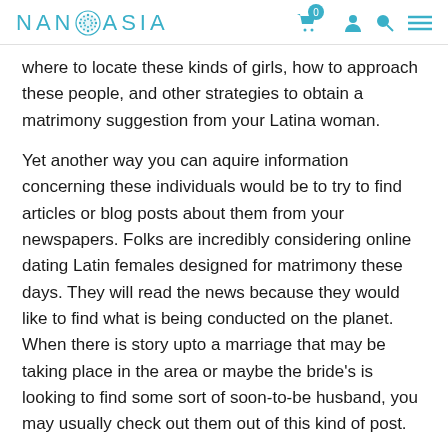NANOASIA
where to locate these kinds of girls, how to approach these people, and other strategies to obtain a matrimony suggestion from your Latina woman.
Yet another way you can aquire information concerning these individuals would be to try to find articles or blog posts about them from your newspapers. Folks are incredibly considering online dating Latin females designed for matrimony these days. They will read the news because they would like to find what is being conducted on the planet. When there is story upto a marriage that may be taking place in the area or maybe the bride's is looking to find some sort of soon-to-be husband, you may usually check out them out of this kind of post.